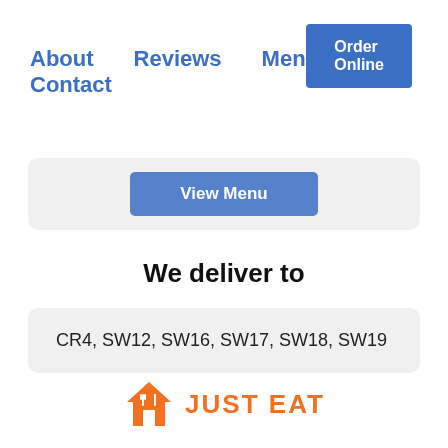Order Online
About   Reviews   Menu   Contact
[Figure (screenshot): View Menu button on a light grey card background]
We deliver to
CR4, SW12, SW16, SW17, SW18, SW19
[Figure (logo): Just Eat logo — orange house icon with fork and knife, orange text JUST EAT]